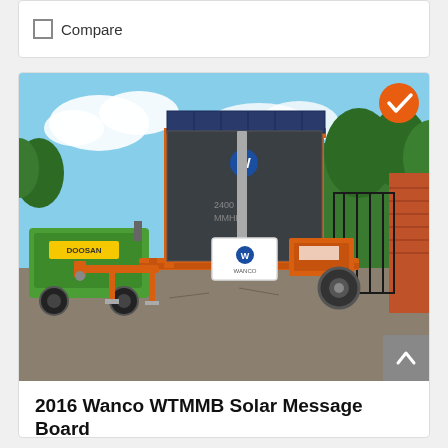Compare
[Figure (photo): 2016 Wanco WTMMB Solar Message Board on an orange trailer with solar panels, in a gravel lot with trees and fence in background. A green Doosan compressor is visible to the left. Orange verification badge in top right corner of photo.]
2016 Wanco WTMMB Solar Message Board